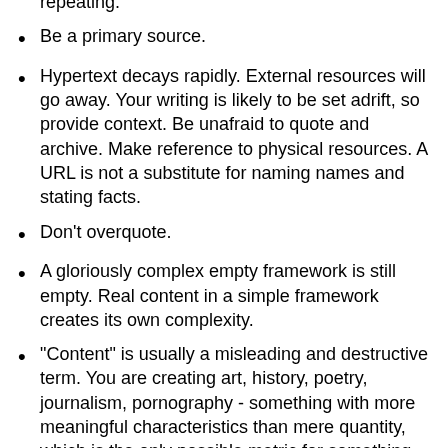repeating.
Be a primary source.
Hypertext decays rapidly. External resources will go away. Your writing is likely to be set adrift, so provide context. Be unafraid to quote and archive. Make reference to physical resources. A URL is not a substitute for naming names and stating facts.
Don't overquote.
A gloriously complex empty framework is still empty. Real content in a simple framework creates its own complexity.
"Content" is usually a misleading and destructive term. You are creating art, history, poetry, journalism, pornography - something with more meaningful characteristics than mere quantity, which is the only possible metric for something as amorphous as "content".